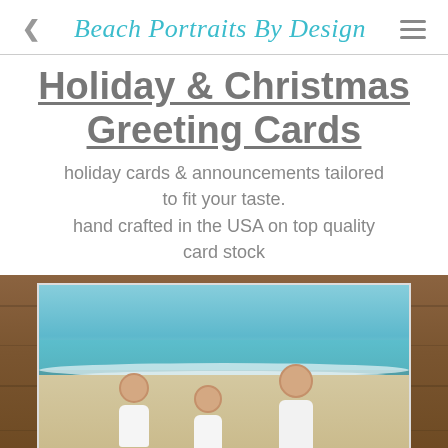Beach Portraits By Design
Holiday & Christmas Greeting Cards
holiday cards & announcements tailored to fit your taste.
hand crafted in the USA on top quality card stock
[Figure (photo): Three girls in white dresses sitting on a beach with turquoise water in the background, displayed as a greeting card photo on a wooden background]